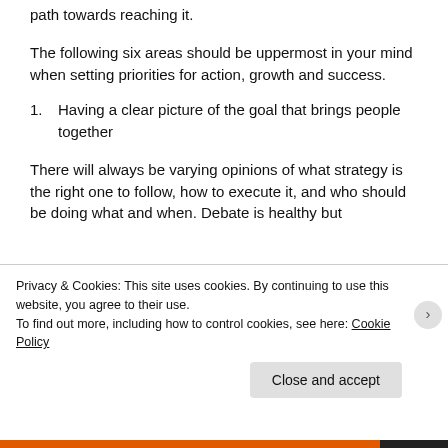path towards reaching it.
The following six areas should be uppermost in your mind when setting priorities for action, growth and success.
Having a clear picture of the goal that brings people together
There will always be varying opinions of what strategy is the right one to follow, how to execute it, and who should be doing what and when. Debate is healthy but
Privacy & Cookies: This site uses cookies. By continuing to use this website, you agree to their use.
To find out more, including how to control cookies, see here: Cookie Policy
Close and accept